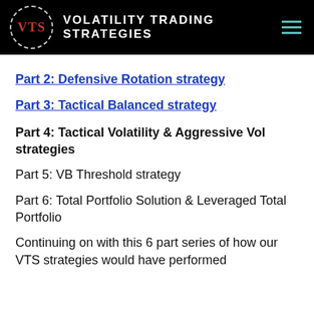VTS VOLATILITY TRADING STRATEGIES
Part 2: Defensive Rotation strategy
Part 3: Tactical Balanced strategy
Part 4: Tactical Volatility & Aggressive Vol strategies
Part 5: VB Threshold strategy
Part 6: Total Portfolio Solution & Leveraged Total Portfolio
Continuing on with this 6 part series of how our VTS strategies would have performed